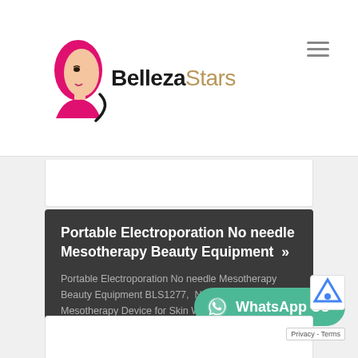[Figure (logo): BellezaStars logo with pink female face silhouette and brand name in bold black and gold/tan text]
Portable Electroporation No needle Mesotherapy Beauty Equipment >>
Portable Electroporation No needle Mesotherapy Beauty Equipment BLS1277,  Needle Free Mesotherapy Device for Skin Whitening, electrophoresis electroporation no needle mesotherapy device for Anti-wrinkle, Needle Free
View More
[Figure (other): WhatsApp Us button with teal background and WhatsApp icon]
Privacy - Terms